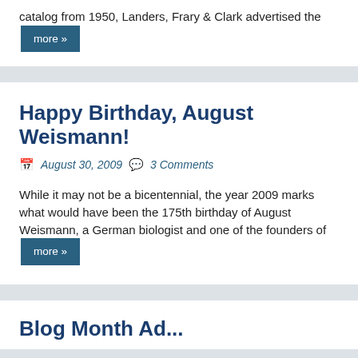catalog from 1950, Landers, Frary & Clark advertised the more »
Happy Birthday, August Weismann!
August 30, 2009   3 Comments
While it may not be a bicentennial, the year 2009 marks what would have been the 175th birthday of August Weismann, a German biologist and one of the founders of more »
Blog Month A...